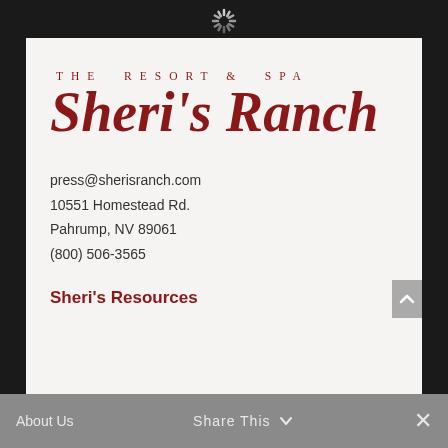[Figure (logo): The Resort & Spa Sheri's Ranch logo in dark red serif font]
press@sherisranch.com
10551 Homestead Rd.
Pahrump, NV 89061
(800) 506-3565
Sheri's Resources
About Us   Share This   ×